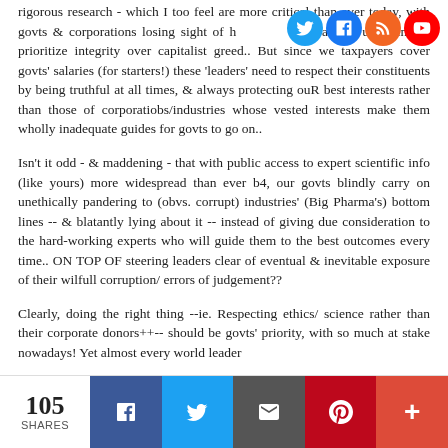rigorous research - which I too feel are more critical than ever today, with govts & corporations losing sight of h... ong and/or unwilling to prioritize integrity over capitalist greed.. But since we taxpayers cover govts' salaries (for starters!) these 'leaders' need to respect their constituents by being truthful at all times, & always protecting ouR best interests rather than those of corporatiobs/industries whose vested interests make them wholly inadequate guides for govts to go on..
Isn't it odd - & maddening - that with public access to expert scientific info (like yours) more widespread than ever b4, our govts blindly carry on unethically pandering to (obvs. corrupt) industries' (Big Pharma's) bottom lines -- & blatantly lying about it -- instead of giving due consideration to the hard-working experts who will guide them to the best outcomes every time.. ON TOP OF steering leaders clear of eventual & inevitable exposure of their wilfull corruption/ errors of judgement??
Clearly, doing the right thing --ie. Respecting ethics/ science rather than their corporate donors++-- should be govts' priority, with so much at stake nowadays! Yet almost every world leader...
105 SHARES | Facebook | Twitter | Email | Pinterest | +